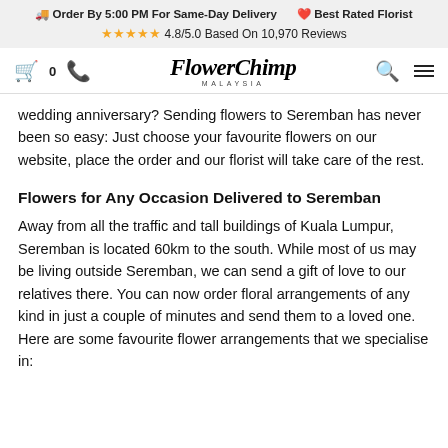🚚 Order By 5:00 PM For Same-Day Delivery  ❤️ Best Rated Florist
⭐⭐⭐⭐⭐ 4.8/5.0 Based On 10,970 Reviews
[Figure (logo): FlowerChimp Malaysia logo with cart, phone, search, and menu icons in navigation bar]
wedding anniversary? Sending flowers to Seremban has never been so easy: Just choose your favourite flowers on our website, place the order and our florist will take care of the rest.
Flowers for Any Occasion Delivered to Seremban
Away from all the traffic and tall buildings of Kuala Lumpur, Seremban is located 60km to the south. While most of us may be living outside Seremban, we can send a gift of love to our relatives there. You can now order floral arrangements of any kind in just a couple of minutes and send them to a loved one. Here are some favourite flower arrangements that we specialise in: